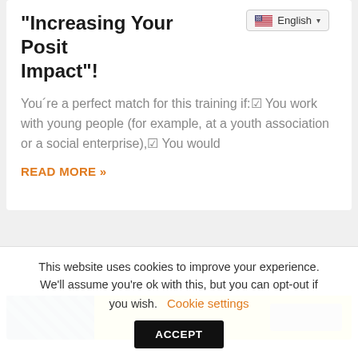"Increasing Your Positive Impact"!
You´re a perfect match for this training if:☑ You work with young people (for example, at a youth association or a social enterprise),☑ You would
READ MORE »
[Figure (photo): Partial view of a banner image with blue diagonal-striped section on the left and yellow section on the right, with a gray button partially visible]
This website uses cookies to improve your experience. We'll assume you're ok with this, but you can opt-out if you wish. Cookie settings  ACCEPT